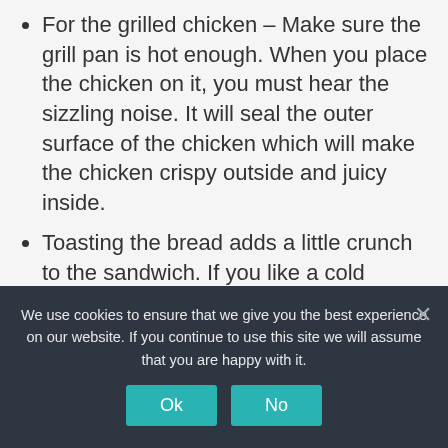For the grilled chicken – Make sure the grill pan is hot enough. When you place the chicken on it, you must hear the sizzling noise. It will seal the outer surface of the chicken which will make the chicken crispy outside and juicy inside.
Toasting the bread adds a little crunch to the sandwich. If you like a cold chicken sandwich then serve it without toasting it.
The addition of butter enhances the flavor of the sandwich. You can substitute it with clarified butter or Ghee. But do not substitute it with oil.
While making the chicken sandwich filling
We use cookies to ensure that we give you the best experience on our website. If you continue to use this site we will assume that you are happy with it.